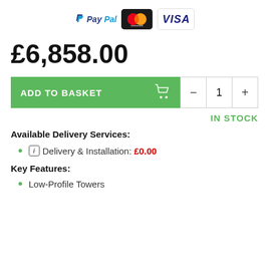[Figure (logo): Payment logos: PayPal, Mastercard, Visa]
£6,858.00
[Figure (other): Add to Basket button with shopping cart icon and quantity controls (minus, 1, plus)]
IN STOCK
Available Delivery Services:
Delivery & Installation: £0.00
Key Features:
Low-Profile Towers